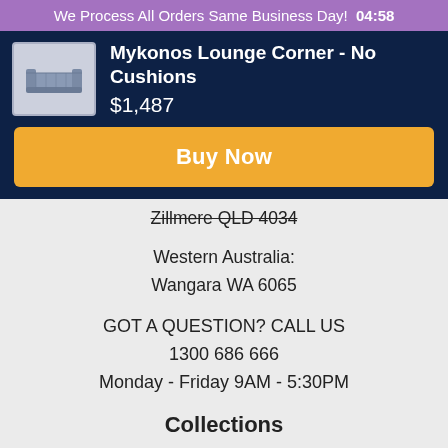We Process All Orders Same Business Day!  04:58
Mykonos Lounge Corner - No Cushions
$1,487
Buy Now
Zillmere QLD 4034
Western Australia:
Wangara WA 6065
GOT A QUESTION? CALL US
1300 686 666
Monday - Friday 9AM - 5:30PM
Collections
Chairs
Sofas/Lounges
Desks
Workstations